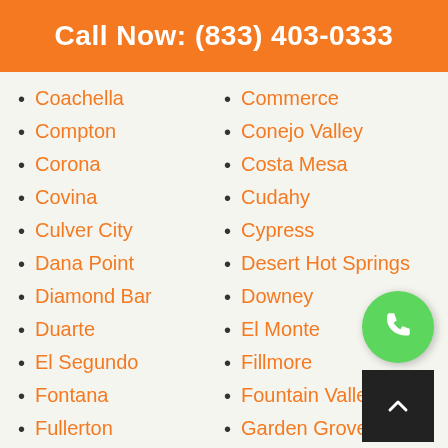Call Now: (833) 403-0333
Coachella
Compton
Corona
Covina
Culver City
Dana Point
Diamond Bar
Duarte
El Segundo
Fontana
Fullerton
Gardena
Glendora
Commerce
Conejo Valley
Costa Mesa
Cudahy
Cypress
Desert Hot Springs
Downey
El Monte
Fillmore
Fountain Valley
Garden Grove
Glendale
Goleta